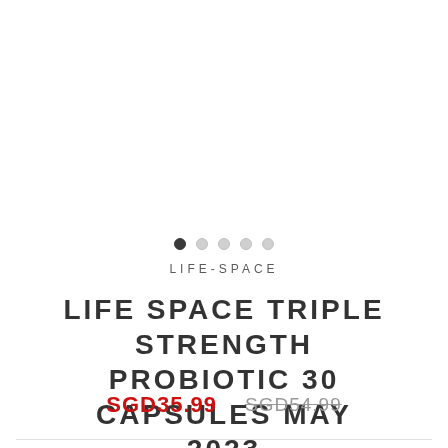[Figure (other): Product image area (white/blank image carousel placeholder for Life Space Triple Strength Probiotic 30 Capsules)]
LIFE-SPACE
LIFE SPACE TRIPLE STRENGTH PROBIOTIC 30 CAPSULES MAY 2023
SGD35.99   SGD54.99